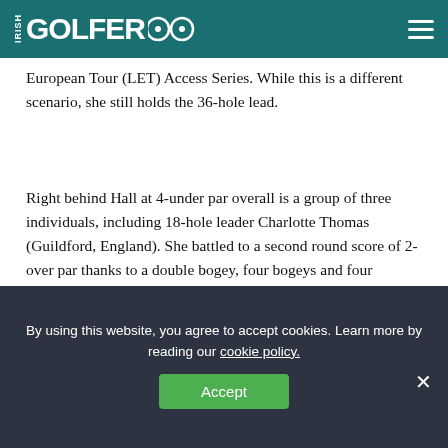IRISH GOLFER
European Tour (LET) Access Series. While this is a different scenario, she still holds the 36-hole lead.
Right behind Hall at 4-under par overall is a group of three individuals, including 18-hole leader Charlotte Thomas (Guildford, England). She battled to a second round score of 2-over par thanks to a double bogey, four bogeys and four birdies.
Joining Thomas at the 4-under mark is Karen
By using this website, you agree to accept cookies. Learn more by reading our cookie policy.
Accept